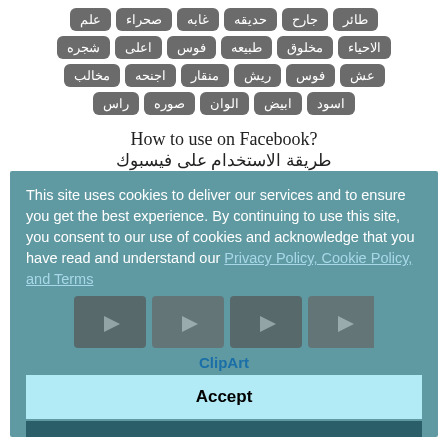طائر جارح حديقه غابه صحراء علم شجره اعلى فوس طبيعه مخلوق الاحياء عش فوس ريش منقار اجنحه مخالب راس صوره الوان ابيض اسود
How to use on Facebook?
طريقة الاستخدام على فيسبوك
This site uses cookies to deliver our services and to ensure you get the best experience. By continuing to use this site, you consent to our use of cookies and acknowledge that you have read and understand our Privacy Policy, Cookie Policy, and Terms
ClipArt
Accept